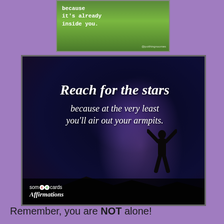[Figure (photo): Partial nature/green grass image with white monospace text reading 'because it's already inside you.' with a watermark in bottom right]
[Figure (photo): Inspirational quote image with night sky/Milky Way background, silhouette of person with arms raised, quote text 'Reach for the stars because at the very least you'll air out your armpits.' with someecards Affirmations branding at bottom]
Remember, you are NOT alone!